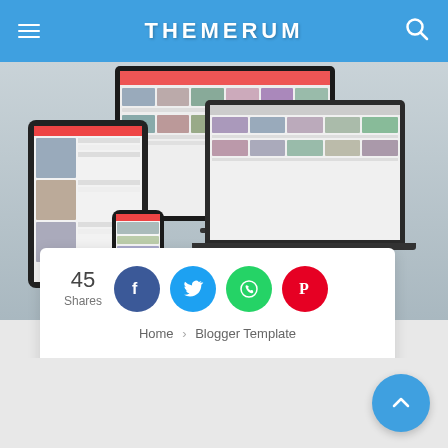THEMERUM
[Figure (screenshot): Screenshot of ThemeRum website showing responsive design across multiple devices - desktop monitor, laptop, tablet, and phone displaying a YouTube-style video template]
45 Shares
Home › Blogger Template
Youtube Video Style 3 Blogger Template